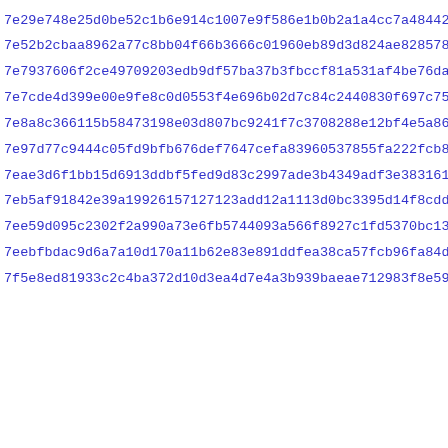7e29e748e25d0be52c1b6e914c1007e9f586e1b0b2a1a4cc7a484423f6b4f
7e52b2cbaa8962a77c8bb04f66b3666c01960eb89d3d824ae8285788d96fd
7e7937606f2ce49709203edb9df57ba37b3fbccf81a531af4be76daecbb5c
7e7cde4d399e00e9fe8c0d0553f4e696b02d7c84c2440830f697c75da9052
7e8a8c366115b58473198e03d807bc9241f7c3708288e12bf4e5a86405a01
7e97d77c9444c05fd9bfb676def7647cefa83960537855fa222fcb86392403
7eae3d6f1bb15d6913ddbf5fed9d83c2997ade3b4349adf3e3831611d380f
7eb5af91842e39a19926157127123add12a1113d0bc3395d14f8cdd138152
7ee59d095c2302f2a990a73e6fb5744093a566f8927c1fd5370bc138e1d73
7eebfbdac9d6a7a10d170a11b62e83e891ddfea38ca57fcb96fa84d8c804c
7f5e8ed81933c2c4ba372d10d3ea4d7e4a3b939baeae712983f8e59f94f1f